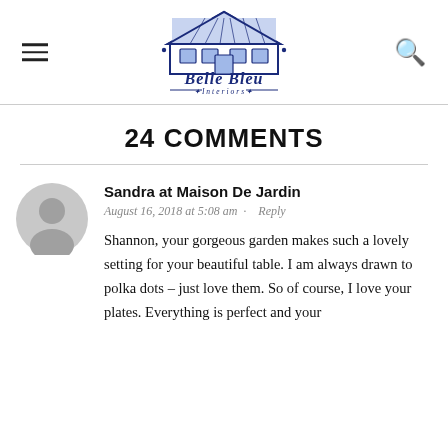Belle Bleu Interiors
24 COMMENTS
Sandra at Maison De Jardin
August 16, 2018 at 5:08 am · Reply
Shannon, your gorgeous garden makes such a lovely setting for your beautiful table. I am always drawn to polka dots – just love them. So of course, I love your plates. Everything is perfect and your